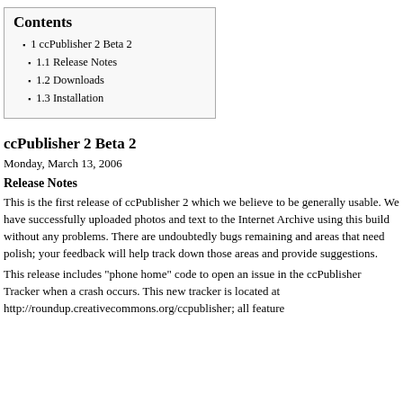Contents
1  ccPublisher 2 Beta 2
1.1  Release Notes
1.2  Downloads
1.3  Installation
ccPublisher 2 Beta 2
Monday, March 13, 2006
Release Notes
This is the first release of ccPublisher 2 which we believe to be generally usable. We have successfully uploaded photos and text to the Internet Archive using this build without any problems. There are undoubtedly bugs remaining and areas that need polish; your feedback will help track down those areas and provide suggestions.
This release includes "phone home" code to open an issue in the ccPublisher Tracker when a crash occurs. This new tracker is located at http://roundup.creativecommons.org/ccpublisher; all feature